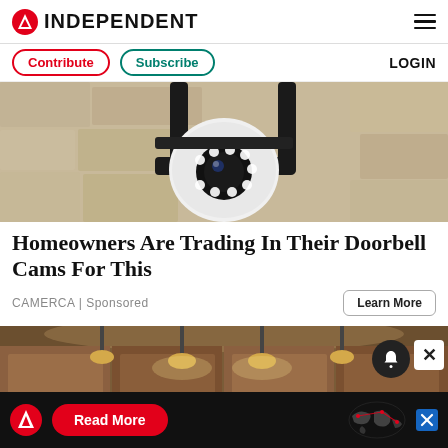INDEPENDENT
[Figure (photo): Security camera mounted on a stone wall, close-up view showing LED ring and camera lens]
Homeowners Are Trading In Their Doorbell Cams For This
CAMERCA | Sponsored
[Figure (photo): Kitchen interior with wood cabinets and pendant lights]
[Figure (other): Bottom advertisement banner with Independent logo and Read More button]